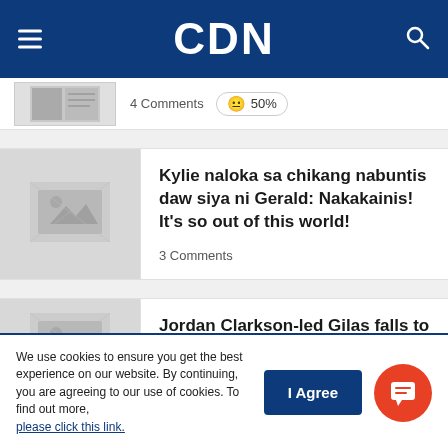CDN
4 Comments  😐 50%
Kylie naloka sa chikang nabuntis daw siya ni Gerald: Nakakainis! It's so out of this world!
3 Comments
Jordan Clarkson-led Gilas falls to Lebanon in Fiba fourth window
We use cookies to ensure you get the best experience on our website. By continuing, you are agreeing to our use of cookies. To find out more, please click this link.